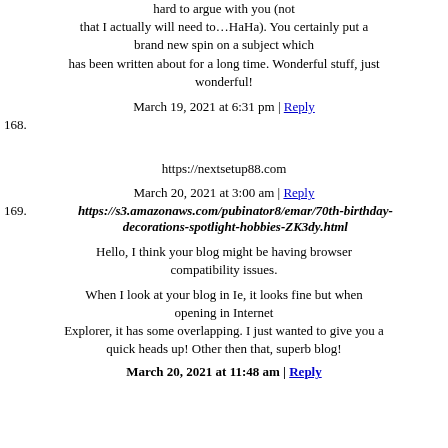hard to argue with you (not that I actually will need to…HaHa). You certainly put a brand new spin on a subject which has been written about for a long time. Wonderful stuff, just wonderful!
March 19, 2021 at 6:31 pm | Reply
168. [Japanese characters] [Japanese characters] https://nextsetup88.com
March 20, 2021 at 3:00 am | Reply
169. https://s3.amazonaws.com/pubinator8/emar/70th-birthday-decorations-spotlight-hobbies-ZK3dy.html
Hello, I think your blog might be having browser compatibility issues.
When I look at your blog in Ie, it looks fine but when opening in Internet Explorer, it has some overlapping. I just wanted to give you a quick heads up! Other then that, superb blog!
March 20, 2021 at 11:48 am | Reply